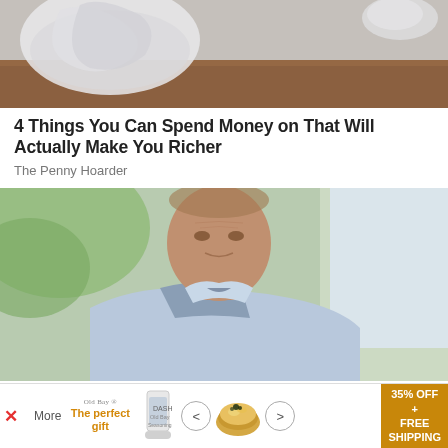[Figure (photo): Top portion of an image showing white crumpled plastic bags on a wooden surface]
4 Things You Can Spend Money on That Will Actually Make You Richer
The Penny Hoarder
[Figure (photo): A middle-aged man in a light blue shirt looking serious, photographed indoors with a bright background]
Here's Bill Bonner's "4th and Final Prediction"
Stansberry Research
[Figure (infographic): Advertisement banner: Old Bay seasoning 'The perfect gift' ad with food image, navigation arrows, and 35% OFF + FREE SHIPPING offer]